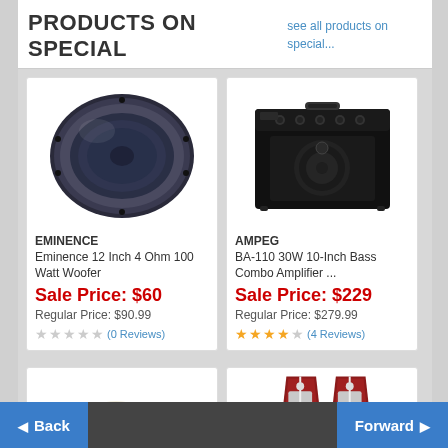PRODUCTS ON SPECIAL
see all products on special...
[Figure (photo): Eminence 12 Inch 4 Ohm 100 Watt Woofer product image - dark blue circular speaker]
EMINENCE
Eminence 12 Inch 4 Ohm 100 Watt Woofer
Sale Price: $60
Regular Price: $90.99
(0 Reviews)
[Figure (photo): Ampeg BA-110 30W 10-Inch Bass Combo Amplifier product image - black rectangular amplifier]
AMPEG
BA-110 30W 10-Inch Bass Combo Amplifier ...
Sale Price: $229
Regular Price: $279.99
(4 Reviews)
[Figure (photo): Partial view of a guitar product image at bottom left]
[Figure (photo): Partial view of red metronomes product image at bottom right]